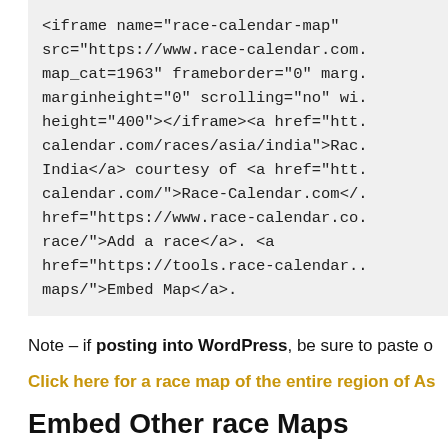<iframe name="race-calendar-map" src="https://www.race-calendar.com/map_cat=1963" frameborder="0" marginheight="0" scrolling="no" width= height="400"></iframe><a href="http://calendar.com/races/asia/india">Race India</a> courtesy of <a href="http://calendar.com/">Race-Calendar.com</a> href="https://www.race-calendar.com/race/">Add a race</a>. <a href="https://tools.race-calendar./maps/">Embed Map</a>.
Note – if posting into WordPress, be sure to paste o...
Click here for a race map of the entire region of As...
Embed Other race Maps